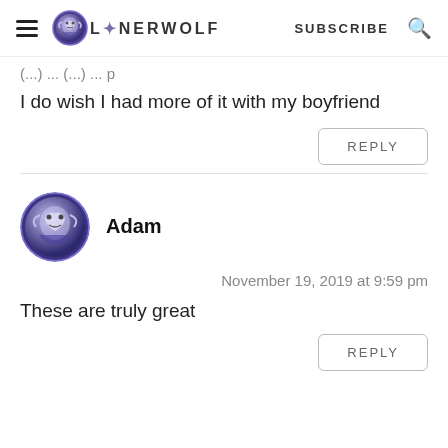LONERWOLF — SUBSCRIBE
(... truncated ...)
I do wish I had more of it with my boyfriend
REPLY
Adam
November 19, 2019 at 9:59 pm
These are truly great
REPLY